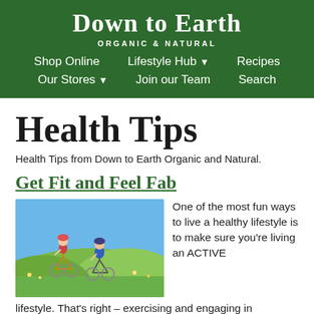Down to Earth ORGANIC & NATURAL
Shop Online   Lifestyle Hub ▾   Recipes   Our Stores ▾   Join our Team   Search
Health Tips
Health Tips from Down to Earth Organic and Natural.
Get Fit and Feel Fab
[Figure (photo): Two cyclists riding bikes outdoors on a hillside on a sunny day]
One of the most fun ways to live a healthy lifestyle is to make sure you're living an ACTIVE lifestyle. That's right – exercising and engaging in